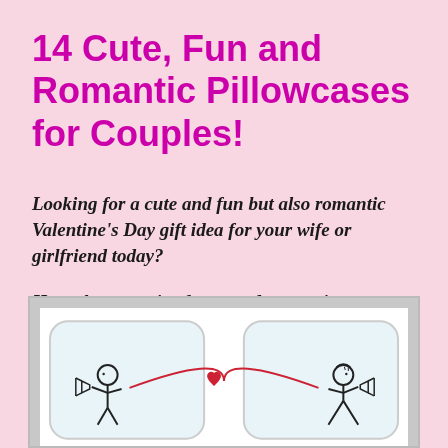14 Cute, Fun and Romantic Pillowcases for Couples!
Looking for a cute and fun but also romantic Valentine's Day gift idea for your wife or girlfriend today?
How about a pair of cute and romantic pillowcases? 🙂
[Figure (photo): Two white pillowcases side by side with stick figure illustrations — a boy on the left pillow and a girl on the right pillow connected by a red string with a heart in the middle]